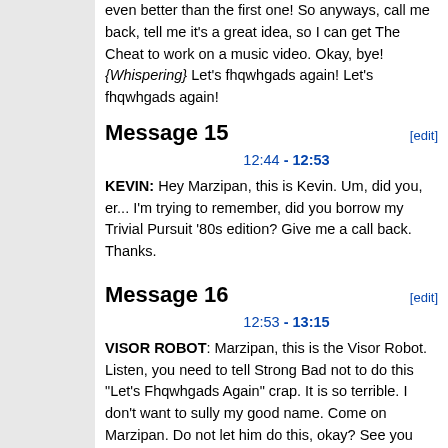even better than the first one! So anyways, call me back, tell me it's a great idea, so I can get The Cheat to work on a music video. Okay, bye! {Whispering} Let's fhqwhgads again! Let's fhqwhgads again!
Message 15
12:44 - 12:53
KEVIN: Hey Marzipan, this is Kevin. Um, did you, er... I'm trying to remember, did you borrow my Trivial Pursuit '80s edition? Give me a call back. Thanks.
Message 16
12:53 - 13:15
VISOR ROBOT: Marzipan, this is the Visor Robot. Listen, you need to tell Strong Bad not to do this "Let's Fhqwhgads Again" crap. It is so terrible. I don't want to sully my good name. Come on Marzipan. Do not let him do this, okay? See you around.